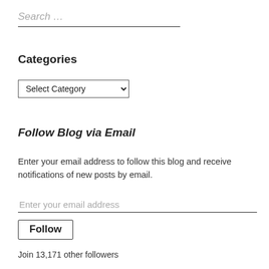Search …
Categories
Select Category
Follow Blog via Email
Enter your email address to follow this blog and receive notifications of new posts by email.
Enter your email address
Follow
Join 13,171 other followers